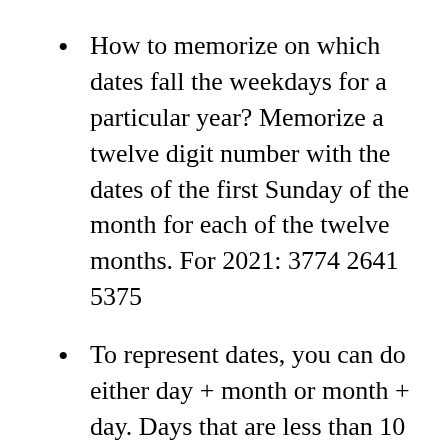How to memorize on which dates fall the weekdays for a particular year? Memorize a twelve digit number with the dates of the first Sunday of the month for each of the twelve months. For 2021: 3774 2641 5375
To represent dates, you can do either day + month or month + day. Days that are less than 10 can be prepended by a 0 for disambiguation.
In this way, you can remember birthdays by associating them to